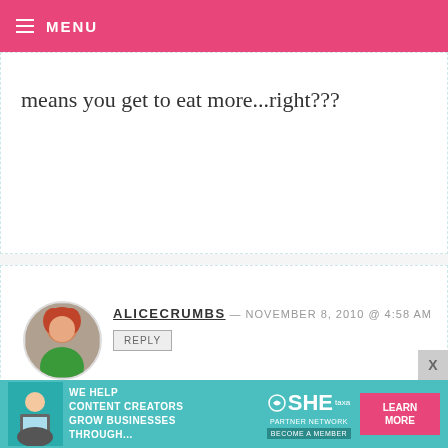MENU
means you get to eat more...right???
ALICECRUMBS — NOVEMBER 8, 2010 @ 4:58 AM
REPLY
Never done it before – in the uk just toasting marshmallows at a bonfire is about as far as we go!! Looks lush! X
STEPHANIE — NOVEMBER 8, 2010 @ 4:22 AM
[Figure (infographic): SHE partner network advertisement banner: WE HELP CONTENT CREATORS GROW BUSINESSES THROUGH... LEARN MORE]